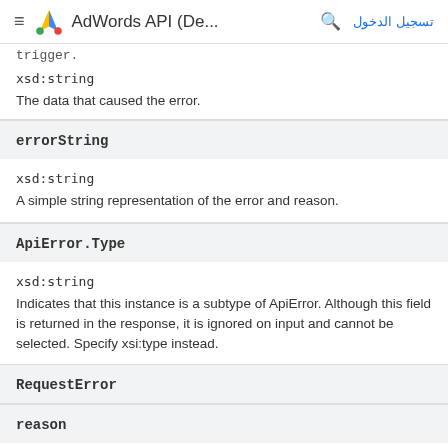≡  AdWords API (De...  🔍  تسجيل الدخول
trigger.
xsd:string
The data that caused the error.
errorString
xsd:string
A simple string representation of the error and reason.
ApiError.Type
xsd:string
Indicates that this instance is a subtype of ApiError. Although this field is returned in the response, it is ignored on input and cannot be selected. Specify xsi:type instead.
RequestError
reason